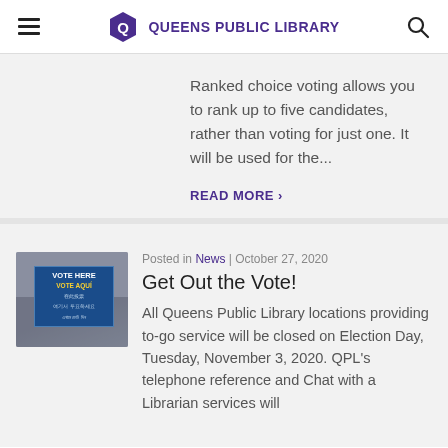Queens Public Library
Ranked choice voting allows you to rank up to five candidates, rather than voting for just one. It will be used for the...
READ MORE
[Figure (photo): Thumbnail image of a multilingual 'Vote Here / Vote Aqui' sign with people in the background]
Posted in News | October 27, 2020
Get Out the Vote!
All Queens Public Library locations providing to-go service will be closed on Election Day, Tuesday, November 3, 2020. QPL's telephone reference and Chat with a Librarian services will